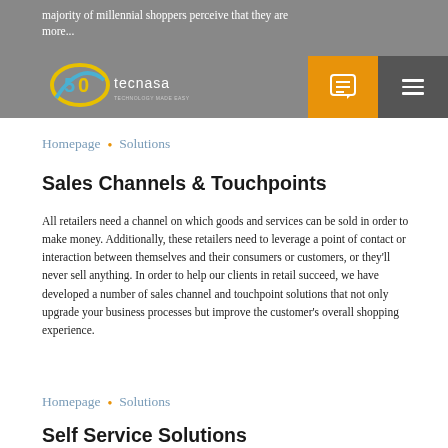majority of millennial shoppers perceive that they are more...
[Figure (logo): Tecnasa company logo with 50th anniversary badge, blue and yellow swoosh]
Homepage • Solutions
Sales Channels & Touchpoints
All retailers need a channel on which goods and services can be sold in order to make money. Additionally, these retailers need to leverage a point of contact or interaction between themselves and their consumers or customers, or they'll never sell anything. In order to help our clients in retail succeed, we have developed a number of sales channel and touchpoint solutions that not only upgrade your business processes but improve the customer's overall shopping experience.
Homepage • Solutions
Self Service Solutions